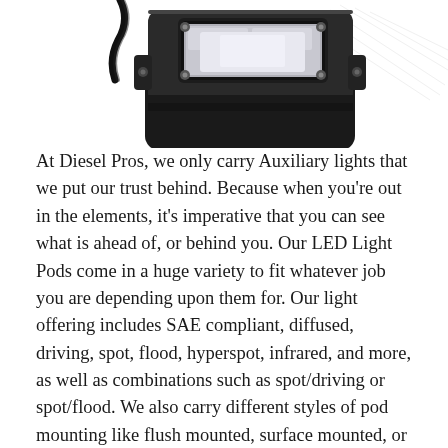[Figure (photo): Close-up photo of a black LED light pod with mounting hardware, showing the Rigid Industries logo on the housing, viewed from above at an angle. The background is white with a faint sketch/watermark of a geometric wing or blade design.]
At Diesel Pros, we only carry Auxiliary lights that we put our trust behind. Because when you're out in the elements, it's imperative that you can see what is ahead of, or behind you. Our LED Light Pods come in a huge variety to fit whatever job you are depending upon them for. Our light offering includes SAE compliant, diffused, driving, spot, flood, hyperspot, infrared, and more, as well as combinations such as spot/driving or spot/flood. We also carry different styles of pod mounting like flush mounted, surface mounted, or pedestal mounted with different colored housings and lenses as well. Chances are whichever LED Light Pod combo you're looking for, we have. This is especially important when considering how the light will mount in your bumper or grille. With all of these options it can be difficult to decide on the best one for the intended job. That's why at Diesel Pros, we have the real world knowledge and experience to back up what we sell. As always, we